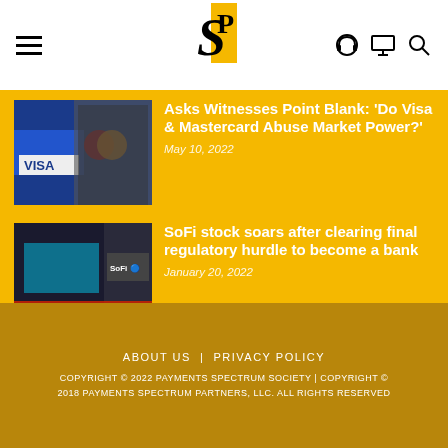PS - Payments Spectrum Society
[Figure (photo): Visa and Mastercard logos with a man speaking]
Asks Witnesses Point Blank: 'Do Visa & Mastercard Abuse Market Power?'
May 10, 2022
[Figure (photo): TV news broadcast showing SoFi coverage]
SoFi stock soars after clearing final regulatory hurdle to become a bank
January 20, 2022
MOST DISCUSSED
ABOUT US | PRIVACY POLICY
COPYRIGHT © 2022 PAYMENTS SPECTRUM SOCIETY | COPYRIGHT © 2018 PAYMENTS SPECTRUM PARTNERS, LLC. ALL RIGHTS RESERVED